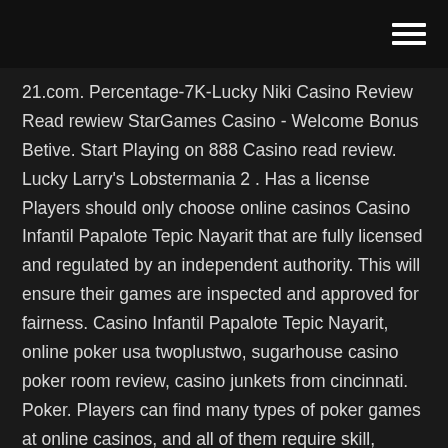21.com. Percentage-7K-Lucky Niki Casino Review Read rewiew StarGames Casino - Welcome Bonus Betive. Start Playing on 888 Casino read review. Lucky Larry's Lobstermania 2 . Has a license Players should only choose online casinos Casino Infantil Papalote Tepic Nayarit that are fully licensed and regulated by an independent authority. This will ensure their games are inspected and approved for fairness. Casino Infantil Papalote Tepic Nayarit, online poker usa twoplustwo, sugarhouse casino poker room review, casino junkets from cincinnati. Poker. Players can find many types of poker games at online casinos, and all of them require skill, strategy, and a bit of luck. Visit casino DISCLAIMER: We are not responsible for incorrect information on bonuses, offers and promotions on